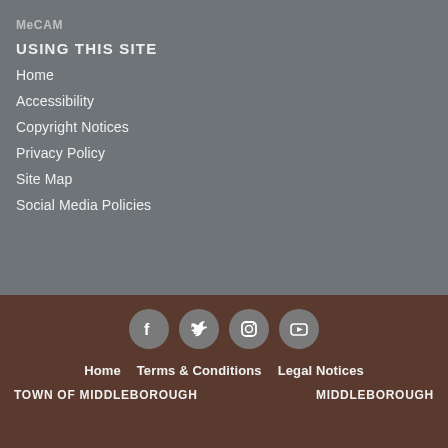MeCAM
USING THIS SITE
Home
Accessibility
Copyright Notices
Privacy Policy
Site Map
Social Media Policies
[Figure (infographic): Social media icons: Facebook, Twitter, Instagram, YouTube — round gray circle buttons]
Home   Terms & Conditions   Legal Notices
TOWN OF MIDDLEBOROUGH   MIDDLEBOROUGH